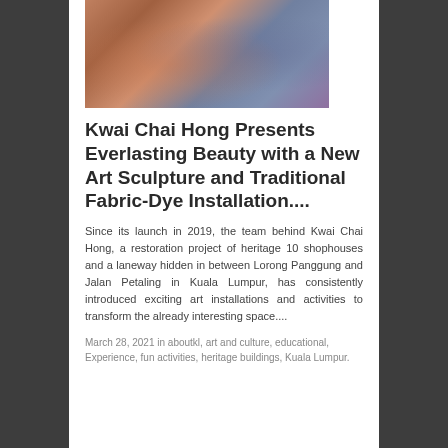[Figure (photo): Two women posing together, wearing decorative/traditional outfits, photographed against a tiled wall background.]
Kwai Chai Hong Presents Everlasting Beauty with a New Art Sculpture and Traditional Fabric-Dye Installation....
Since its launch in 2019, the team behind Kwai Chai Hong, a restoration project of heritage 10 shophouses and a laneway hidden in between Lorong Panggung and Jalan Petaling in Kuala Lumpur, has consistently introduced exciting art installations and activities to transform the already interesting space....
March 28, 2021 in aboutkl, art and culture, educational, Experience, fun activities, heritage buildings, Kuala Lumpur.